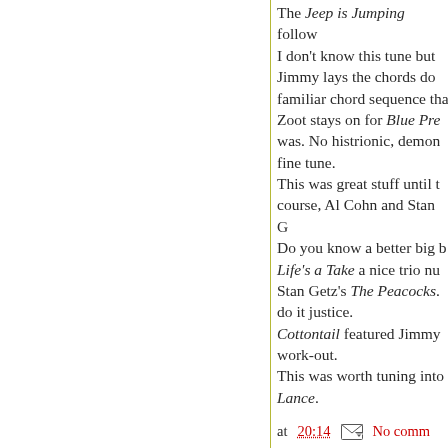The Jeep is Jumping follow I don't know this tune but Jimmy lays the chords do familiar chord sequence tha Zoot stays on for Blue Pre was. No histrionic, demon fine tune. This was great stuff until t course, Al Cohn and Stan G Do you know a better big b Life's a Take a nice trio nu Stan Getz's The Peacocks. do it justice. Cottontail featured Jimmy work-out. This was worth tuning into Lance.
at 20:14  No comm